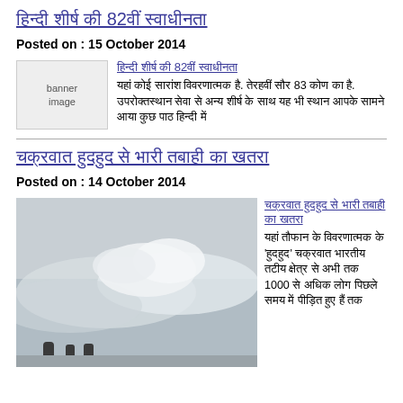हिंदी टेक्स्ट 82वीं शीर्षक (Hindi link title 1)
Posted on : 15 October 2014
[Figure (photo): Banner image placeholder]
Hindi article link and body text (article 1)
Hindi link title 2 (second article)
Posted on : 14 October 2014
[Figure (photo): Large wave photo with people in foreground]
Hindi article text 2 with 1000 figure mentioned